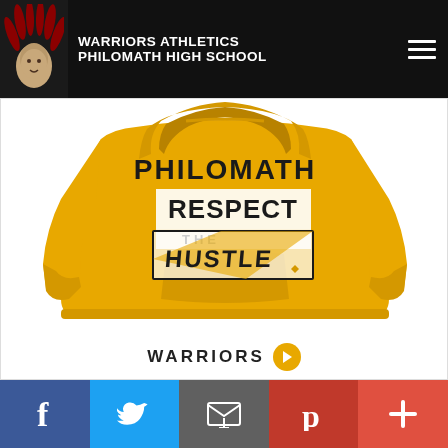WARRIORS ATHLETICS PHILOMATH HIGH SCHOOL
[Figure (photo): Gold hoodie sweatshirt with 'PHILOMATH RESPECT THE HUSTLE' text printed on the chest, displayed on a white background]
WARRIORS
[Figure (other): Social media sharing bar with Facebook, Twitter, Email, Pinterest and plus buttons]